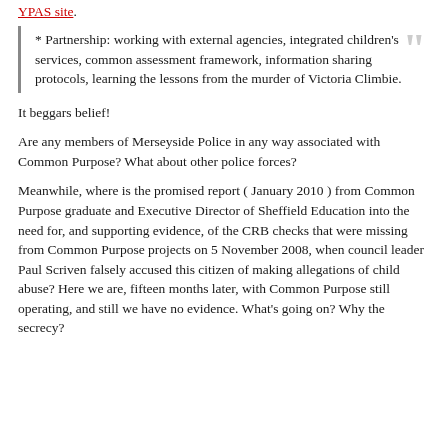YPAS site.
* Partnership: working with external agencies, integrated children's services, common assessment framework, information sharing protocols, learning the lessons from the murder of Victoria Climbie.
It beggars belief!
Are any members of Merseyside Police in any way associated with Common Purpose? What about other police forces?
Meanwhile, where is the promised report ( January 2010 ) from Common Purpose graduate and Executive Director of Sheffield Education into the need for, and supporting evidence, of the CRB checks that were missing from Common Purpose projects on 5 November 2008, when council leader Paul Scriven falsely accused this citizen of making allegations of child abuse? Here we are, fifteen months later, with Common Purpose still operating, and still we have no evidence. What's going on? Why the secrecy?